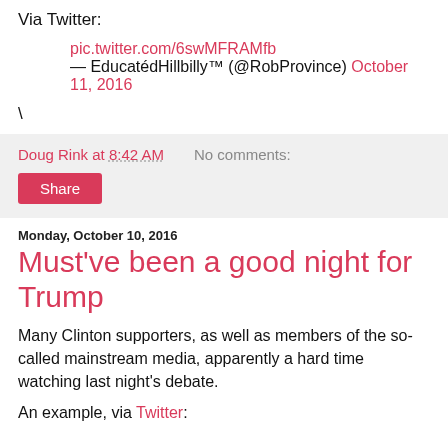Via Twitter:
pic.twitter.com/6swMFRAMfb
— EducatédHillbilly™ (@RobProvince) October 11, 2016
\
Doug Rink at 8:42 AM   No comments:
Share
Monday, October 10, 2016
Must've been a good night for Trump
Many Clinton supporters, as well as members of the so-called mainstream media, apparently a hard time watching last night's debate.
An example, via Twitter: